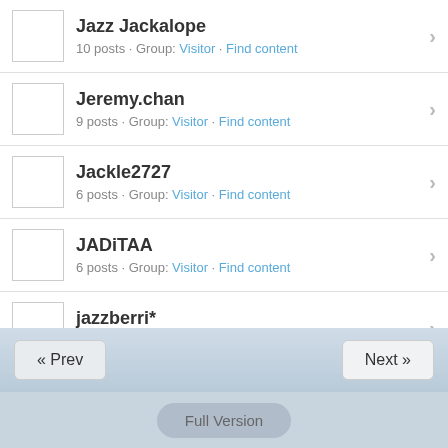Jazz Jackalope
10 posts · Group: Visitor · Find content
Jeremy.chan
9 posts · Group: Visitor · Find content
Jackle2727
6 posts · Group: Visitor · Find content
JADiTAA
6 posts · Group: Visitor · Find content
jazzberri*
5 posts · Group: Visitor · Find content
juice
5 posts · Group: Visitor · Find content
« Prev   Next »   Full Version